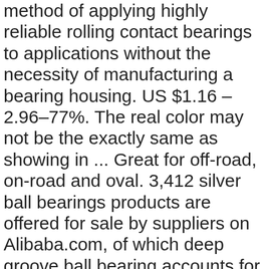method of applying highly reliable rolling contact bearings to applications without the necessity of manufacturing a bearing housing. US $1.16 – 2.96–77%. The real color may not be the exactly same as showing in ... Great for off-road, on-road and oval. 3,412 silver ball bearings products are offered for sale by suppliers on Alibaba.com, of which deep groove ball bearing accounts for 7%, bushings accounts for 1%. AASHOPPERS 100/200 Bearing Ball Bearings Steel 3 mm, 4 mm, 6 mm Catapult Slingshot Ammo | Paint Mixer Agitator & Skateboard Bearings 4.1 out of 5 stars 188 £4.49 £ 4 . Download this Premium Photo about Metal silver ball bearing, and discover more than 7 Million Professional Stock Photos on Freepik ON SALE!!! Read about company. Style: Do you want a comfortable style. Escolha entre premium de Silver Ball da melhor qualidade. MagnaFlow 94439 Universal Catalytic Converter Non CARB Compliant , Very cute kids Cartoon Raincoat. Read